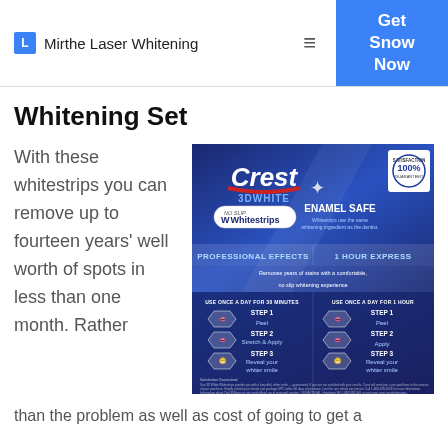L  Mirthe Laser Whitening   ≡   Get Snow Now
Whitening Set
With these whitestrips you can remove up to fourteen years' well worth of spots in less than one month. Rather than the problem as well as cost of going to get
[Figure (photo): Crest 3D White No Slip Whitestrips product packaging showing ENAMEL SAFE claim, PROFESSIONAL EFFECTS and 1 HOUR EXPRESS variants, with step-by-step usage instructions (Step 1: Peel, Step 2: Stretch & Apply, Step 3: Reveal your whiter smile) and 100% Satisfaction Guaranteed badge.]